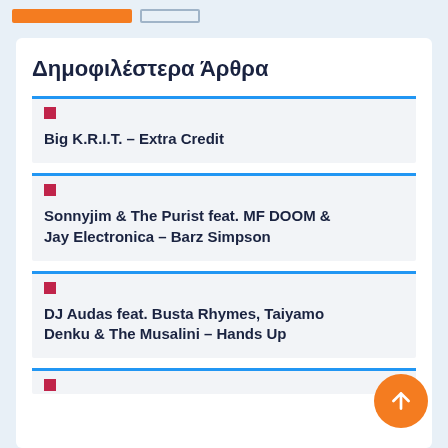Δημοφιλέστερα Άρθρα
Big K.R.I.T. – Extra Credit
Sonnyjim & The Purist feat. MF DOOM & Jay Electronica – Barz Simpson
DJ Audas feat. Busta Rhymes, Taiyamo Denku & The Musalini – Hands Up